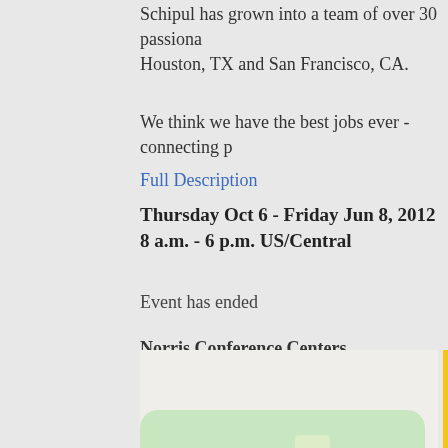Schipul has grown into a team of over 30 passionate employees in Houston, TX and San Francisco, CA.
We think we have the best jobs ever - connecting p
Full Description
Thursday Oct 6 - Friday Jun 8, 2012
8 a.m. - 6 p.m. US/Central
Event has ended
Norris Conference Centers
800 Town and Country Boulevard
Houston, Texas 77024
United States
[Figure (map): Google map showing Northwest Houston and Spring Branch North area with yellow road and green park areas]